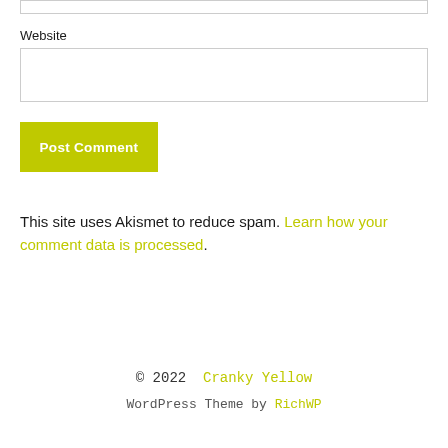[Figure (other): Top partial input box (cropped at top of page)]
Website
[Figure (other): Website text input field (empty)]
Post Comment
This site uses Akismet to reduce spam. Learn how your comment data is processed.
© 2022  Cranky Yellow
WordPress Theme by RichWP